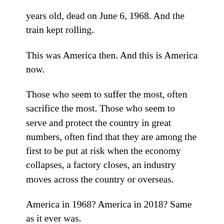years old, dead on June 6, 1968. And the train kept rolling.
This was America then. And this is America now.
Those who seem to suffer the most, often sacrifice the most. Those who seem to serve and protect the country in great numbers, often find that they are among the first to be put at risk when the economy collapses, a factory closes, an industry moves across the country or overseas.
America in 1968? America in 2018? Same as it ever was.
Robert Kennedy was far from perfect. But as that train pulled itself toward Washington and Arlington National Cemetery, as the sun slowly faded and darkness arrived at Union Station, it had passed by